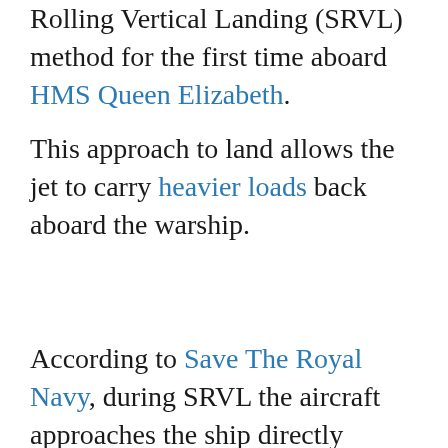Rolling Vertical Landing (SRVL) method for the first time aboard HMS Queen Elizabeth.
This approach to land allows the jet to carry heavier loads back aboard the warship.
According to Save The Royal Navy, during SRVL the aircraft approaches the ship directly